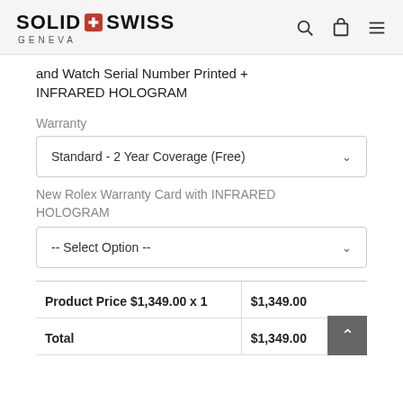SOLID SWISS GENEVA
and Watch Serial Number Printed + INFRARED HOLOGRAM
Warranty
Standard - 2 Year Coverage (Free)
New Rolex Warranty Card with INFRARED HOLOGRAM
-- Select Option --
|  |  |
| --- | --- |
| Product Price $1,349.00 x 1 | $1,349.00 |
| Total | $1,349.00 |